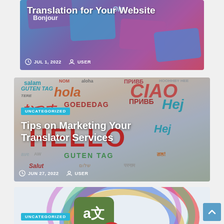[Figure (screenshot): Blog post card showing keyboard keys with words Bonjour, Ola etc. — article about website translation, dated JUL 1, 2022 by USER]
[Figure (screenshot): Blog post card with multilingual word cloud (hola, HELLO, GUTEN TAG, CIAO, salam, etc.) — article titled 'Tips on Marketing Your Translator Services', dated JUN 27, 2022 by USER, category UNCATEGORIZED]
[Figure (screenshot): Blog post card showing translation app icon with 'a文 4' — article titled 'How to Best Approach', category UNCATEGORIZED]